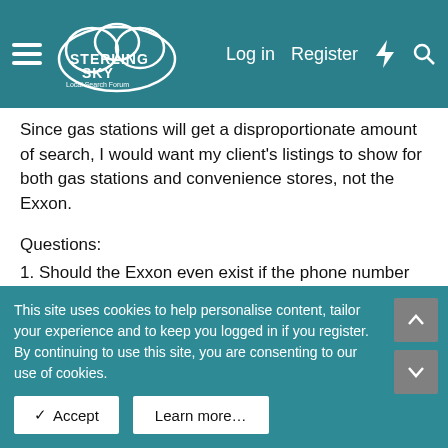Sterling Sky Local Search Forum — Log in | Register
Since gas stations will get a disproportionate amount of search, I would want my client's listings to show for both gas stations and convenience stores, not the Exxon.
Questions:
1. Should the Exxon even exist if the phone number and address are the same?
2. Would Google merge these listings? Or should I be trying to get Exxon taken down?
3. Should I claim both and keep both listings?
Context for last question: In many cases the Exxon ranks really well, so there’s some concern we’ll cut foot traffic by messing with it, but also there are concerns about...
This site uses cookies to help personalise content, tailor your experience and to keep you logged in if you register.
By continuing to use this site, you are consenting to our use of cookies.